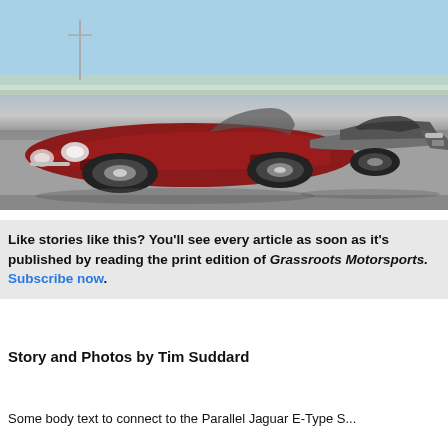[Figure (photo): Two Jaguar sports cars parked on a road with sparse vegetation and a light blue sky in the background. On the left is a classic red Jaguar E-Type convertible; on the right is a modern dark grey Jaguar F-Type coupe.]
Like stories like this? You'll see every article as soon as it's published by reading the print edition of Grassroots Motorsports. Subscribe now.
Story and Photos by Tim Suddard
Some body text at bottom... the Parallel Jaguar E-Type S...